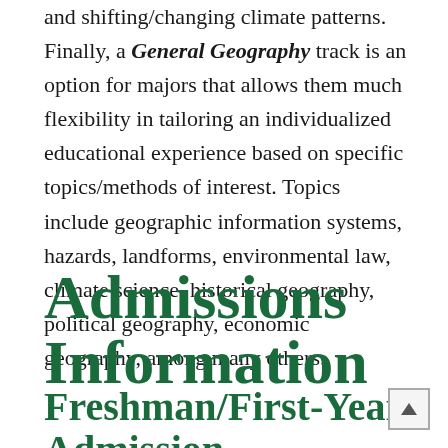and shifting/changing climate patterns. Finally, a General Geography track is an option for majors that allows them much flexibility in tailoring an individualized educational experience based on specific topics/methods of interest. Topics include geographic information systems, hazards, landforms, environmental law, climate science, historical geography, political geography, economic geography, among many others.
Admissions Information
Freshman/First-Year Admission